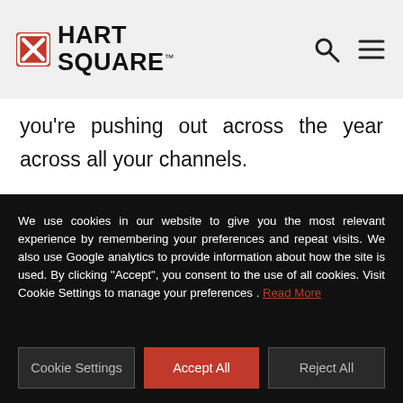[Figure (logo): Hart Square logo with red octagon/X icon and bold HART SQUARE text with TM mark]
you're pushing out across the year across all your channels.
Protection – The online world has led to the highest levels of sharing and using of personal data that we've
We use cookies in our website to give you the most relevant experience by remembering your preferences and repeat visits. We also use Google analytics to provide information about how the site is used. By clicking "Accept", you consent to the use of all cookies. Visit Cookie Settings to manage your preferences . Read More
Cookie Settings | Accept All | Reject All